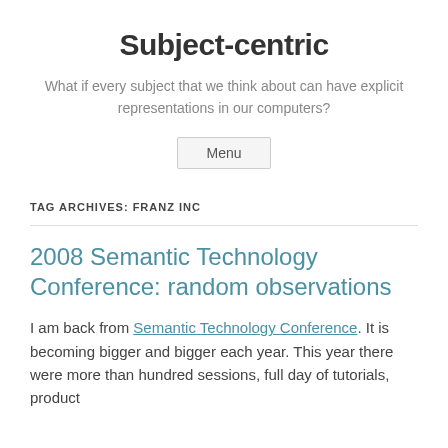Subject-centric
What if every subject that we think about can have explicit representations in our computers?
Menu
TAG ARCHIVES: FRANZ INC
2008 Semantic Technology Conference: random observations
I am back from Semantic Technology Conference. It is becoming bigger and bigger each year. This year there were more than hundred sessions, full day of tutorials, product